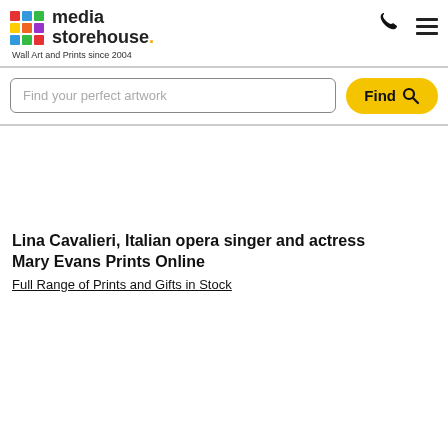media storehouse. Wall Art and Prints since 2004
Find your perfect artwork
Find
Lina Cavalieri, Italian opera singer and actress
Mary Evans Prints Online
Full Range of Prints and Gifts in Stock